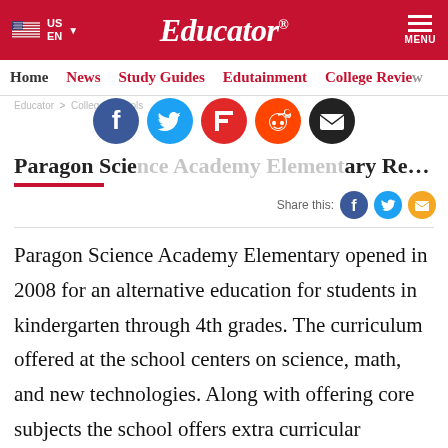Educator
Home  News  Study Guides  Edutainment  College Review
Paragon Science Academy Elementary Review
[Figure (infographic): Social media share icons: Facebook, Twitter, Flipboard, Reddit, Email]
Share this:
Paragon Science Academy Elementary opened in 2008 for an alternative education for students in kindergarten through 4th grades. The curriculum offered at the school centers on science, math, and new technologies. Along with offering core subjects the school offers extra curricular activities such as painting, drama, dance,